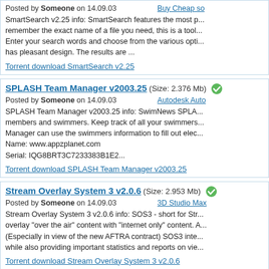Posted by Someone on 14.09.03   Buy Cheap so
SmartSearch v2.25 info: SmartSearch features the most p... remember the exact name of a file you need, this is a tool... Enter your search words and choose from the various opti... has pleasant design. The results are ...
Torrent download SmartSearch v2.25
SPLASH Team Manager v2003.25 (Size: 2.376 Mb)
Posted by Someone on 14.09.03   Autodesk Auto
SPLASH Team Manager v2003.25 info: SwimNews SPLA... members and swimmers. Keep track of all your swimmers... Manager can use the swimmers information to fill out elec...
Name: www.appzplanet.com
Serial: IQG8BRT3C7233383B1E2...
Torrent download SPLASH Team Manager v2003.25
Stream Overlay System 3 v2.0.6 (Size: 2.953 Mb)
Posted by Someone on 14.09.03   3D Studio Max
Stream Overlay System 3 v2.0.6 info: SOS3 - short for Str... overlay "over the air" content with "internet only" content. A... (Especially in view of the new AFTRA contract) SOS3 inte... while also providing important statistics and reports on vie...
Torrent download Stream Overlay System 3 v2.0.6
Tasker v3.12 September 8 2003 (Size: 0.717 Mb)
Posted by Someone on 14.09.03   Windows 7 Ult
Tasker v3.12 September 8 2003 info: The latest version of... valuable tool records your actions and plays them back wi...
Name: www.appzplanet.com
Serial: 7404T9447...
Torrent download Tasker v3.12 September 8 2003